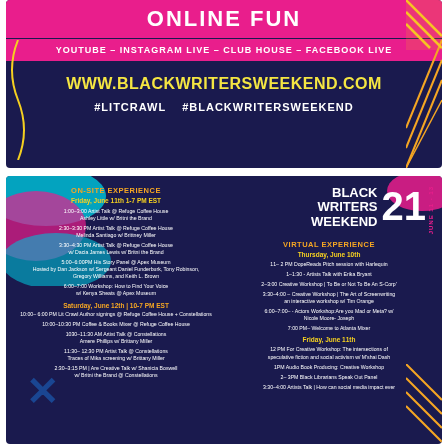ONLINE FUN
YOUTUBE – INSTAGRAM LIVE – CLUB HOUSE – FACEBOOK LIVE
WWW.BLACKWRITERSWEEKEND.COM
#LITCRAWL  #BLACKWRITERSWEEKEND
[Figure (infographic): Black Writers Weekend 2021 event flyer with on-site and virtual experience schedules. Left column shows ON-SITE EXPERIENCE with Friday June 11th 1-7 PM EST and Saturday June 12th 10-7 PM EST events. Right column shows VIRTUAL EXPERIENCE with Thursday June 10th and Friday June 11th events. Large '21' text and 'BLACK WRITERS WEEKEND' title with 'JUNE 11-13' displayed vertically.]